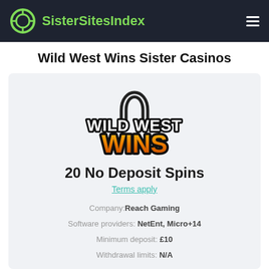SisterSitesIndex
Wild West Wins Sister Casinos
[Figure (logo): Wild West Wins casino logo with horseshoe above text. WILD WEST WINS in bold western font, gold/orange color.]
20 No Deposit Spins
Terms apply
Company: Reach Gaming
Software providers: NetEnt, Micro+14
Minimum deposit: £10
Withdrawal limits: N/A